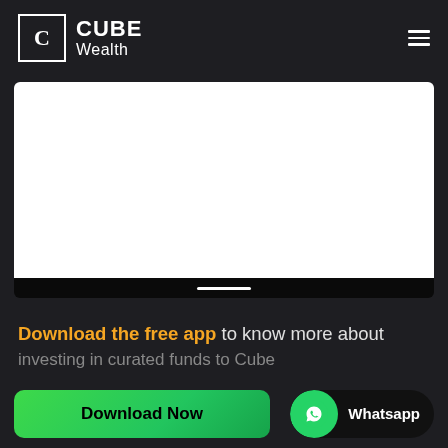[Figure (logo): CUBE Wealth logo — a white square box with letter C inside, followed by bold text CUBE and lighter text Wealth]
[Figure (screenshot): A white rectangular embedded content area (video/image embed) with a dark bottom bar containing a white progress/home indicator line]
Download the free app to know more about investing in curated funds to Cube
[Figure (other): Green Download Now button and WhatsApp button side by side]